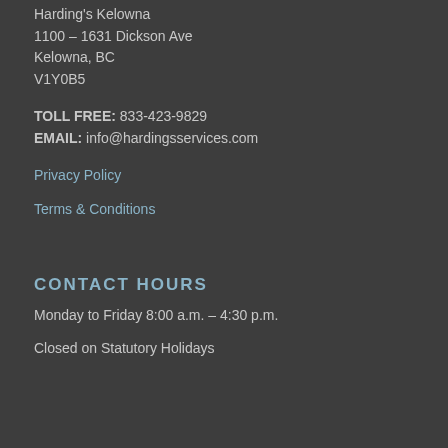Harding's Kelowna
1100 – 1631 Dickson Ave
Kelowna, BC
V1Y0B5
TOLL FREE: 833-423-9829
EMAIL: info@hardingsservices.com
Privacy Policy
Terms & Conditions
CONTACT HOURS
Monday to Friday 8:00 a.m. – 4:30 p.m.
Closed on Statutory Holidays